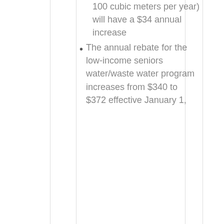100 cubic meters per year) will have a $34 annual increase
The annual rebate for the low-income seniors water/waste water program increases from $340 to $372 effective January 1,